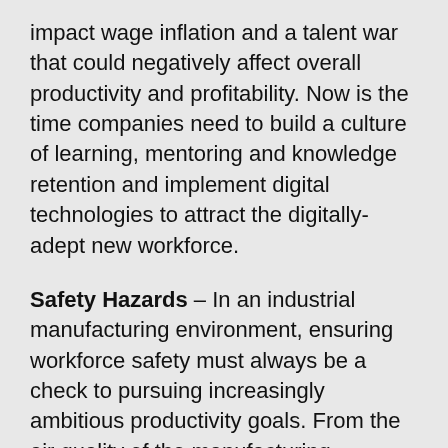impact wage inflation and a talent war that could negatively affect overall productivity and profitability. Now is the time companies need to build a culture of learning, mentoring and knowledge retention and implement digital technologies to attract the digitally-adept new workforce.
Safety Hazards – In an industrial manufacturing environment, ensuring workforce safety must always be a check to pursuing increasingly ambitious productivity goals. From the air quality of the manufacturing environment, to exposure to extreme temperatures, noise levels, and a number of ergonomic issues—such as manually lifting heavy objects—all of these are critical safety